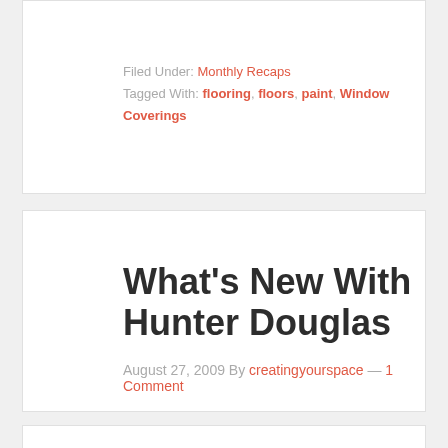Filed Under: Monthly Recaps
Tagged With: flooring, floors, paint, Window Coverings
What's New With Hunter Douglas
August 27, 2009 By creatingyourspace — 1 Comment